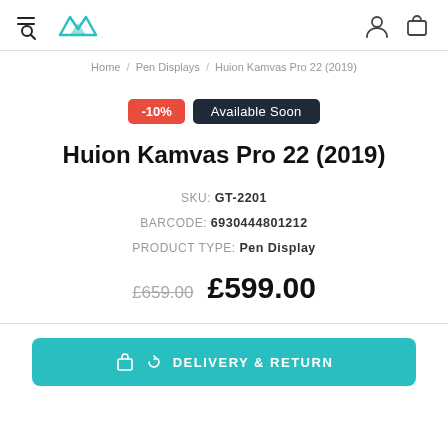Huion logo / navigation header with menu, search, user, and cart icons
Home / Pen Displays / Huion Kamvas Pro 22 (2019)
-10% | Available Soon
Huion Kamvas Pro 22 (2019)
SKU: GT-2201
BARCODE: 6930444801212
PRODUCT TYPE: Pen Display
£659.00  £599.00
DELIVERY & RETURN